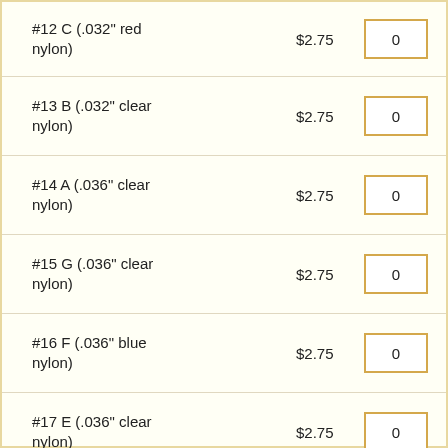#12 C (.032" red nylon)  $2.75  0
#13 B (.032" clear nylon)  $2.75  0
#14 A (.036" clear nylon)  $2.75  0
#15 G (.036" clear nylon)  $2.75  0
#16 F (.036" blue nylon)  $2.75  0
#17 E (.036" clear nylon)  $2.75  0
#18 D (.036" clear